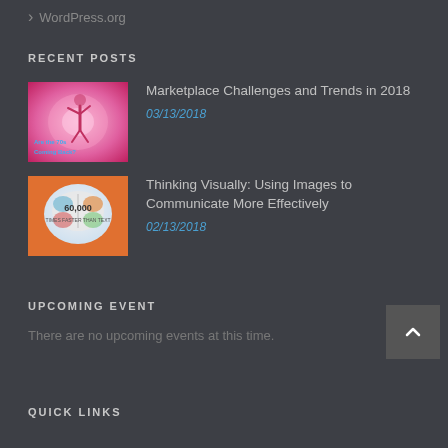WordPress.org
RECENT POSTS
[Figure (photo): Thumbnail image with pink/magenta retro disco background with a dancing figure, text reads 'Are the 70s Coming Back?']
Marketplace Challenges and Trends in 2018
03/13/2018
[Figure (photo): Thumbnail image of a colorful brain graphic with text '60,000 TIMES FASTER THAN TEXT']
Thinking Visually: Using Images to Communicate More Effectively
02/13/2018
UPCOMING EVENT
There are no upcoming events at this time.
QUICK LINKS